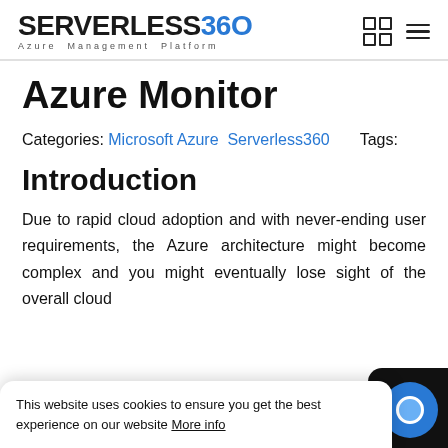SERVERLESS360 Azure Management Platform
Azure Monitor
Categories: Microsoft Azure Serverless360   Tags:
Introduction
Due to rapid cloud adoption and with never-ending user requirements, the Azure architecture might become complex and you might eventually lose sight of the overall cloud
This website uses cookies to ensure you get the best experience on our website More info